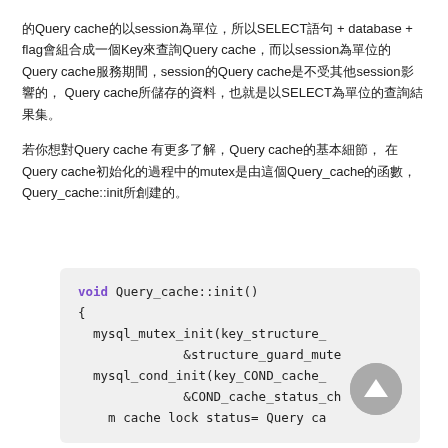的Query cache的以session為單位，所以SELECT語句 + database + flag會組合成一個Key來查詢Query cache，而以session為單位的Query cache服務期間，session的Query cache是不受其他session影響的，Query cache所儲存的資料，也就是以SELECT為單位的查詢結果集。
若你想對Query cache 有更多了解，Query cache的基本細節，在Query cache初始化的過程中的mutex是由這個Query_cache的函數，Query_cache::init所創建的。
[Figure (screenshot): Code block showing C++ function void Query_cache::init() with mysql_mutex_init and mysql_cond_init calls]